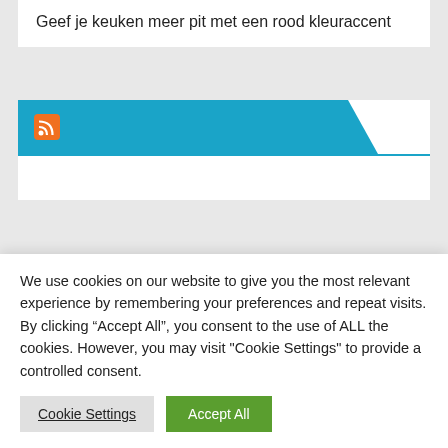Geef je keuken meer pit met een rood kleuraccent
[Figure (other): RSS feed widget header with blue angled banner and RSS icon]
[Figure (other): RSS feed widget header with blue angled banner and RSS icon, with article title: Wie entferne ich tapete? so!]
Wie entferne ich tapete? so!
We use cookies on our website to give you the most relevant experience by remembering your preferences and repeat visits. By clicking “Accept All”, you consent to the use of ALL the cookies. However, you may visit "Cookie Settings" to provide a controlled consent.